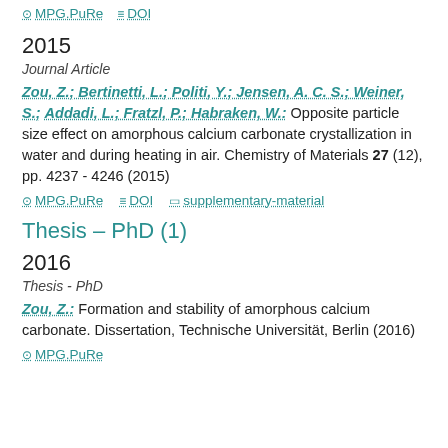MPG.PuRe  DOI
2015
Journal Article
Zou, Z.; Bertinetti, L.; Politi, Y.; Jensen, A. C. S.; Weiner, S.; Addadi, L.; Fratzl, P.; Habraken, W.: Opposite particle size effect on amorphous calcium carbonate crystallization in water and during heating in air. Chemistry of Materials 27 (12), pp. 4237 - 4246 (2015)
MPG.PuRe  DOI  supplementary-material
Thesis – PhD (1)
2016
Thesis - PhD
Zou, Z.: Formation and stability of amorphous calcium carbonate. Dissertation, Technische Universität, Berlin (2016)
MPG.PuRe